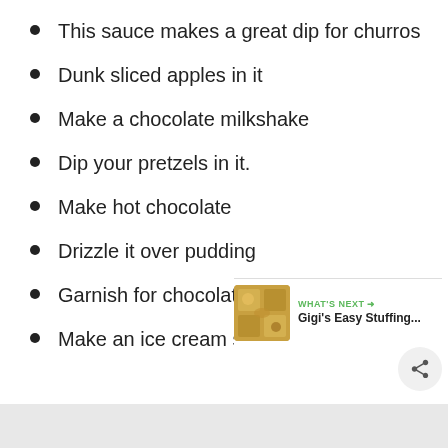This sauce makes a great dip for churros
Dunk sliced apples in it
Make a chocolate milkshake
Dip your pretzels in it.
Make hot chocolate
Drizzle it over pudding
Garnish for chocolate cake
Make an ice cream soda
[Figure (other): Social action buttons: heart/like button (green circle with heart icon), count '4', and share button (gray circle with share icon), plus a 'WHAT'S NEXT' teaser with thumbnail image and text 'Gigi's Easy Stuffing...']